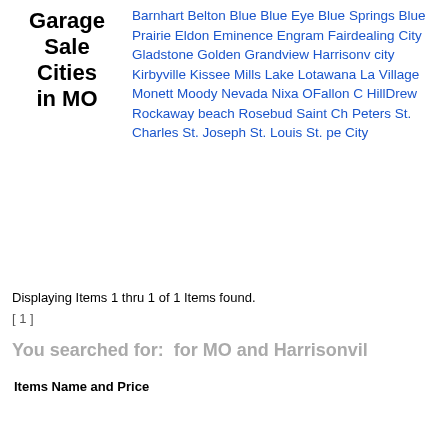Garage Sale Cities in MO
Barnhart Belton Blue Blue Eye Blue Springs Blue Prairie Eldon Eminence Engram Fairdealing City Gladstone Golden Grandview Harrisonville city Kirbyville Kissee Mills Lake Lotawana La Village Monett Moody Nevada Nixa OFallon C HillDrew Rockaway beach Rosebud Saint Ch Peters St. Charles St. Joseph St. Louis St. pe City
Displaying Items 1 thru 1 of 1 Items found.
[ 1 ]
You searched for:  for MO and Harrisonvil
Items Name and Price